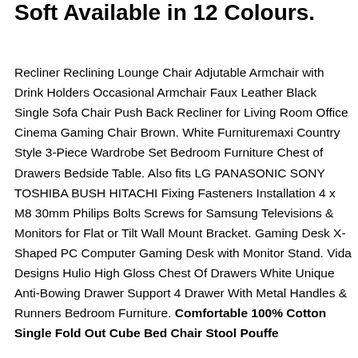Soft Available in 12 Colours.
Recliner Reclining Lounge Chair Adjutable Armchair with Drink Holders Occasional Armchair Faux Leather Black Single Sofa Chair Push Back Recliner for Living Room Office Cinema Gaming Chair Brown. White Furnituremaxi Country Style 3-Piece Wardrobe Set Bedroom Furniture Chest of Drawers Bedside Table. Also fits LG PANASONIC SONY TOSHIBA BUSH HITACHI Fixing Fasteners Installation 4 x M8 30mm Philips Bolts Screws for Samsung Televisions & Monitors for Flat or Tilt Wall Mount Bracket. Gaming Desk X-Shaped PC Computer Gaming Desk with Monitor Stand. Vida Designs Hulio High Gloss Chest Of Drawers White Unique Anti-Bowing Drawer Support 4 Drawer With Metal Handles & Runners Bedroom Furniture. Comfortable 100% Cotton Single Fold Out Cube Bed Chair Stool Pouffe